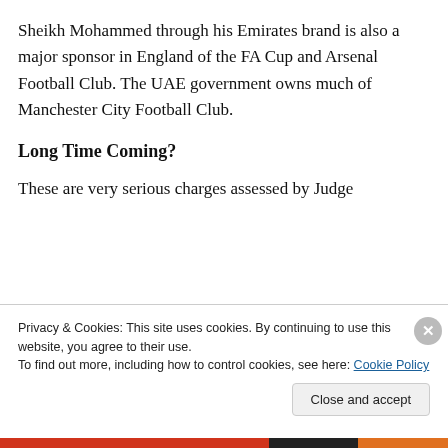Sheikh Mohammed through his Emirates brand is also a major sponsor in England of the FA Cup and Arsenal Football Club. The UAE government owns much of Manchester City Football Club.
Long Time Coming?
These are very serious charges assessed by Judge
Privacy & Cookies: This site uses cookies. By continuing to use this website, you agree to their use.
To find out more, including how to control cookies, see here: Cookie Policy